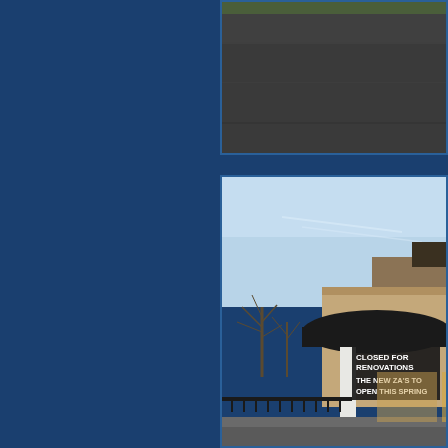[Figure (photo): Top partial photo showing a dark asphalt road surface with grass/greenery visible at the top edge, set against a dark blue sidebar background.]
[Figure (photo): Photo of a restaurant exterior (Za's) closed for renovations. A banner reads 'CLOSED FOR RENOVATIONS THE NEW ZA'S TO OPEN THIS SPRING'. The building has a dark awning and a white column. Bare winter trees visible on the left, blue sky above.]